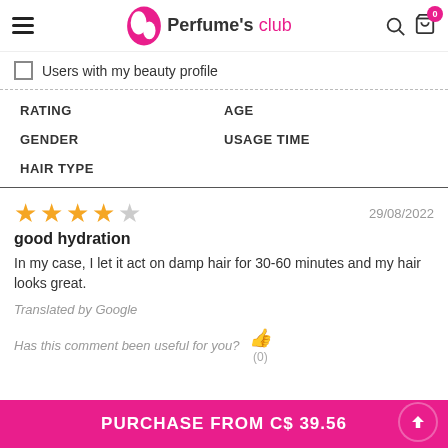Perfume's club
Users with my beauty profile
RATING | AGE | GENDER | USAGE TIME | HAIR TYPE
good hydration
In my case, I let it act on damp hair for 30-60 minutes and my hair looks great.
Translated by Google
Has this comment been useful for you? (0)
PURCHASE FROM C$ 39.56